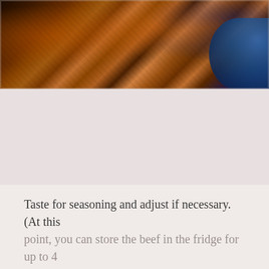[Figure (photo): Close-up photo of braised or sauced beef chunks in a glossy dark sauce with visible aromatics, served in a blue bowl, photographed from above.]
Taste for seasoning and adjust if necessary. (At this point, you can store the beef in the fridge for up to 4 days or freeze for up to 3 months.) Reheat before